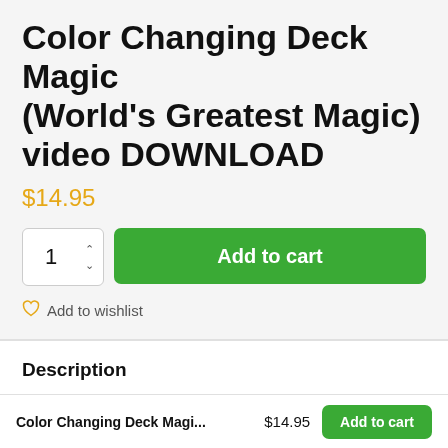Color Changing Deck Magic (World's Greatest Magic) video DOWNLOAD
$14.95
Add to cart
Add to wishlist
Description
Reviews 0
Color Changing Deck Magi... $14.95 Add to cart